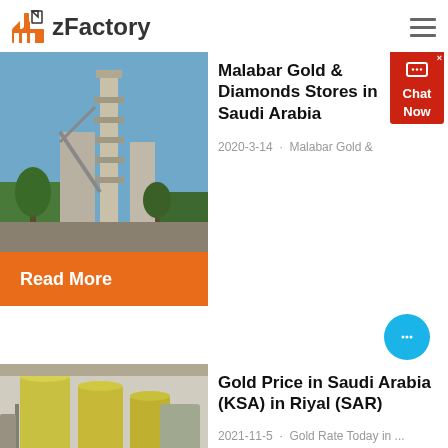zFactory
[Figure (photo): Industrial factory/cement plant with tall tower structures against a blue sky with trees]
Malabar Gold & Diamonds Stores in Saudi Arabia
2020-3-14 · Malabar Gold &
Read More
[Figure (photo): Interior of an industrial facility with large yellow cylindrical silos/tanks]
Gold Price in Saudi Arabia (KSA) in Riyal (SAR)
2021-11-5 · Gold Rate Today in ...